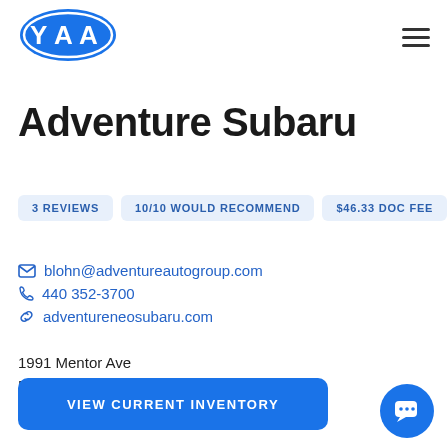[Figure (logo): YAA logo — blue oval with YAA text in white]
Adventure Subaru
3 REVIEWS  10/10 WOULD RECOMMEND  $46.33 DOC FEE
blohn@adventureautogroup.com
440 352-3700
adventureneosubaru.com
1991 Mentor Ave
Painesville, OH 44077
VIEW CURRENT INVENTORY